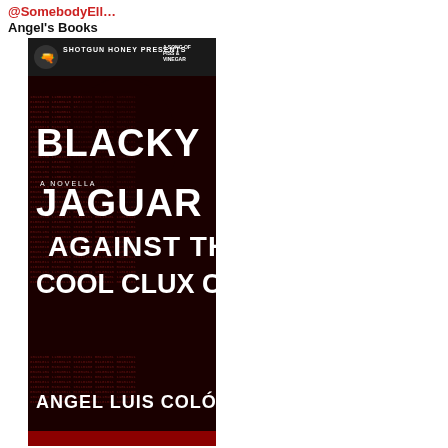@SomebodyEll
Angel's Books
[Figure (illustration): Book cover for 'Blacky Jaguar Against the Cool Clux Cult' — a novella by Angel Luis Colón, published by Shotgun Honey Presents as part of 'A Song of Piss & Vinegar'. Dark red background with binary/code text pattern forming a shadowy face. Large white bold title text.]